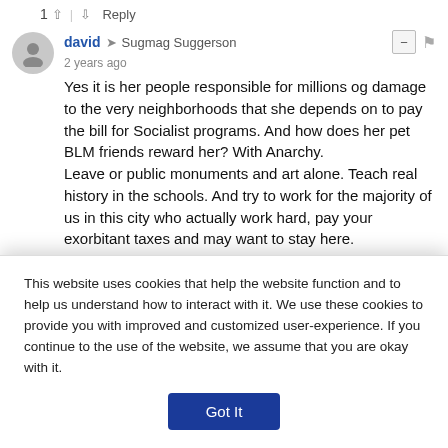1 ↑ | ↓ Reply
david → Sugmag Suggerson
2 years ago
Yes it is her people responsible for millions og damage to the very neighborhoods that she depends on to pay the bill for Socialist programs. And how does her pet BLM friends reward her? With Anarchy.
Leave or public monuments and art alone. Teach real history in the schools. And try to work for the majority of us in this city who actually work hard, pay your exorbitant taxes and may want to stay here.
2 ↑ | ↓ 1 Reply
Tracker → Sugmag Suggerson
This website uses cookies that help the website function and to help us understand how to interact with it. We use these cookies to provide you with improved and customized user-experience. If you continue to the use of the website, we assume that you are okay with it.
Got It